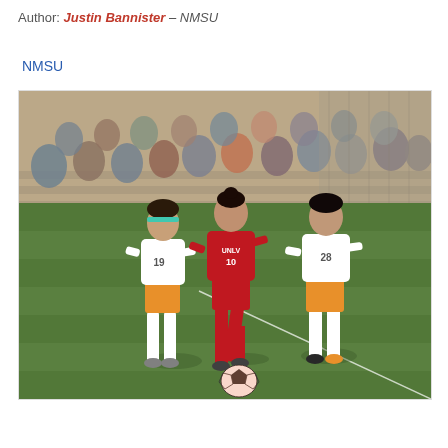Author: Justin Bannister – NMSU
NMSU
[Figure (photo): Women's soccer match with a player in a red UNLV jersey (#10) dribbling a soccer ball while being defended by two players in white and orange NMSU uniforms (#19 and #28) on a green grass field. Spectators are visible in bleachers in the background.]